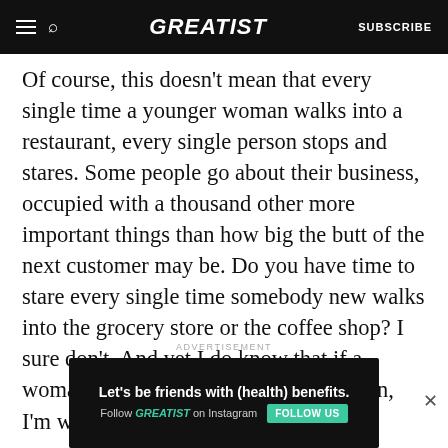GREATIST | SUBSCRIBE
Of course, this doesn't mean that every single time a younger woman walks into a restaurant, every single person stops and stares. Some people go about their business, occupied with a thousand other more important things than how big the butt of the next customer may be. Do you have time to stare every single time somebody new walks into the grocery store or the coffee shop? I sure don't. And yet I do know that if a woman walks through my field of vision, I'm way likelier to look at her
ADVERTISEMENT
[Figure (infographic): Advertisement banner: 'Let's be friends with (health) benefits. Follow GREATIST on Instagram' with a FOLLOW US button on dark background.]